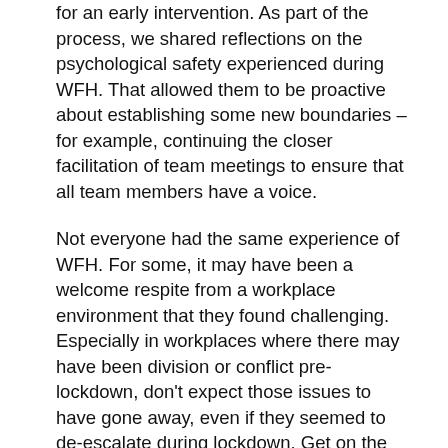for an early intervention. As part of the process, we shared reflections on the psychological safety experienced during WFH. That allowed them to be proactive about establishing some new boundaries – for example, continuing the closer facilitation of team meetings to ensure that all team members have a voice.
Not everyone had the same experience of WFH. For some, it may have been a welcome respite from a workplace environment that they found challenging. Especially in workplaces where there may have been division or conflict pre-lockdown, don't expect those issues to have gone away, even if they seemed to de-escalate during lockdown. Get on the front foot and learn what you can about what worked during WFH – and act fast to replicate those things in the office, to create a safer and more compassionate workplace for the future.